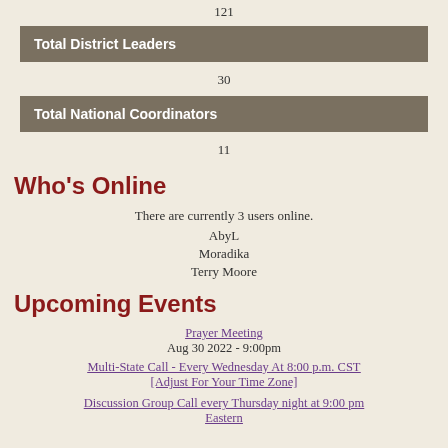121
| Total District Leaders |
| --- |
30
| Total National Coordinators |
| --- |
11
Who's Online
There are currently 3 users online.
AbyL
Moradika
Terry Moore
Upcoming Events
Prayer Meeting
Aug 30 2022 - 9:00pm
Multi-State Call - Every Wednesday At 8:00 p.m. CST [Adjust For Your Time Zone]
Discussion Group Call every Thursday night at 9:00 pm Eastern